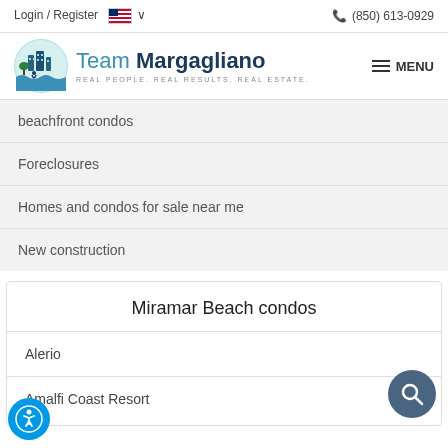Login / Register   (850) 613-0929
[Figure (logo): Team Margagliano real estate logo with circular teal/blue icon showing buildings and beach scene]
beachfront condos
Foreclosures
Homes and condos for sale near me
New construction
Miramar Beach condos
Alerio
Amalfi Coast Resort